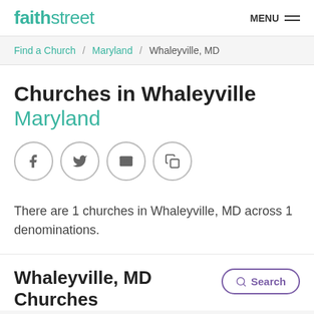faithstreet  MENU
Find a Church / Maryland / Whaleyville, MD
Churches in Whaleyville Maryland
[Figure (infographic): Social sharing icons: Facebook, Twitter, Email, Copy link — each in a grey circle outline]
There are 1 churches in Whaleyville, MD across 1 denominations.
Whaleyville, MD Churches
Search